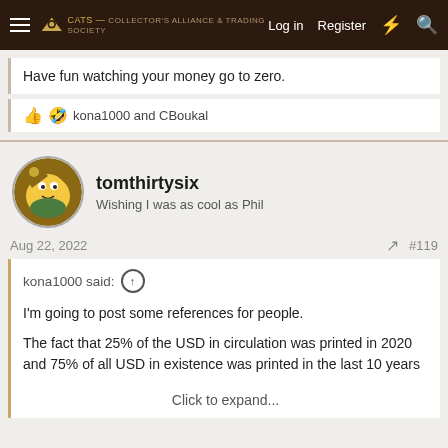Log in  Register
Have fun watching your money go to zero.
kona1000 and CBoukal
tomthirtysix
Wishing I was as cool as Phil
Aug 22, 2022  #119
kona1000 said:
I'm going to post some references for people.

The fact that 25% of the USD in circulation was printed in 2020 and 75% of all USD in existence was printed in the last 10 years

Click to expand...